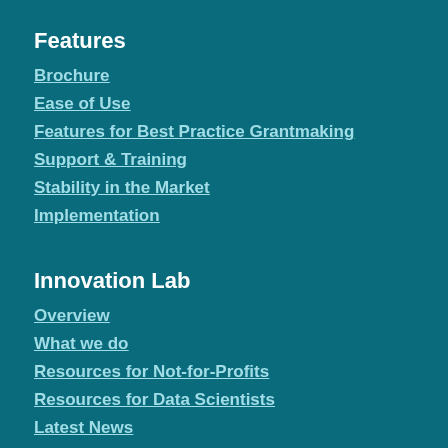Features
Brochure
Ease of Use
Features for Best Practice Grantmaking
Support & Training
Stability in the Market
Implementation
Innovation Lab
Overview
What we do
Resources for Not-for-Profits
Resources for Data Scientists
Latest News